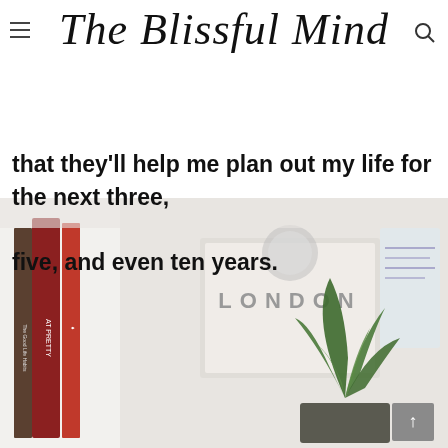The Blissful Mind
figured it out because it's expected of me and it seems to be the only way I actually get help that I see so many blog posts, articles, and books claiming that they'll help me plan out my life for the next three, five, and even ten years.
[Figure (photo): Photo of a desk scene showing books including one titled 'Pretty', a 'LONDON' sign or book, a succulent aloe vera plant, and various stationery items on a white surface]